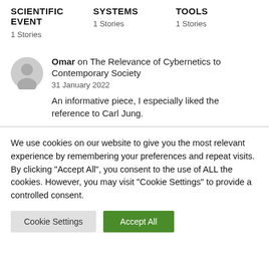SCIENTIFIC EVENT
1 Stories
SYSTEMS
1 Stories
TOOLS
1 Stories
Omar on The Relevance of Cybernetics to Contemporary Society
31 January 2022
An informative piece, I especially liked the reference to Carl Jung.
We use cookies on our website to give you the most relevant experience by remembering your preferences and repeat visits. By clicking "Accept All", you consent to the use of ALL the cookies. However, you may visit "Cookie Settings" to provide a controlled consent.